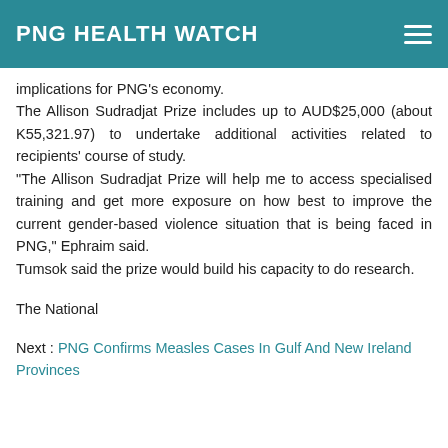PNG HEALTH WATCH
implications for PNG's economy.
The Allison Sudradjat Prize includes up to AUD$25,000 (about K55,321.97) to undertake additional activities related to recipients' course of study.
"The Allison Sudradjat Prize will help me to access specialised training and get more exposure on how best to improve the current gender-based violence situation that is being faced in PNG," Ephraim said.
Tumsok said the prize would build his capacity to do research.
The National
Next : PNG Confirms Measles Cases In Gulf And New Ireland Provinces